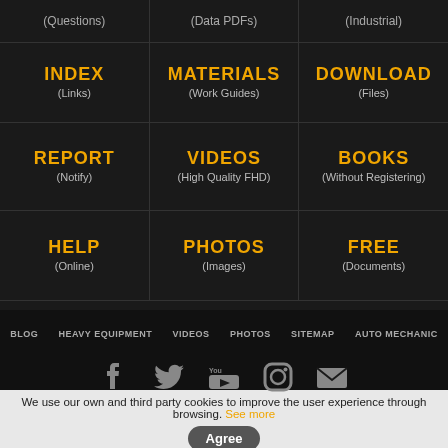(Questions)
(Data PDFs)
(Industrial)
INDEX (Links)
MATERIALS (Work Guides)
DOWNLOAD (Files)
REPORT (Notify)
VIDEOS (High Quality FHD)
BOOKS (Without Registering)
HELP (Online)
PHOTOS (Images)
FREE (Documents)
BLOG  HEAVY EQUIPMENT  VIDEOS  PHOTOS  SITEMAP  AUTO MECHANIC
[Figure (infographic): Social media icons with follower counts: Facebook 94,576 | Twitter 130 | YouTube 16 | Instagram 463 | Email 786]
We use our own and third party cookies to improve the user experience through browsing. See more  Agree